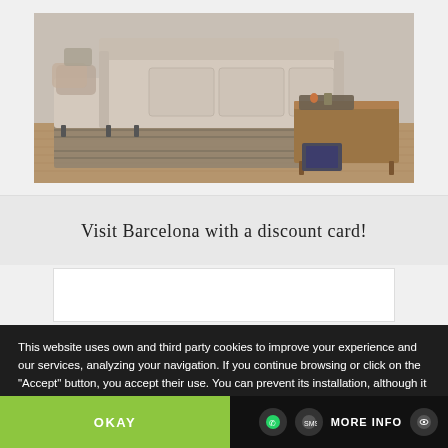[Figure (photo): A light beige sectional sofa with a chaise lounge on the left, placed on a striped area rug. A wooden coffee table with a tray and decorative items is visible to the right. The setting appears to be a modern living room with hardwood flooring.]
Visit Barcelona with a discount card!
[Figure (other): White rectangular card/embed area below the heading, partially visible]
This website uses own and third party cookies to improve your experience and our services, analyzing your navigation. If you continue browsing or click on the "Accept" button, you accept their use. You can prevent its installation, although it may cause navigation difficulties.
OKAY
MORE INFO